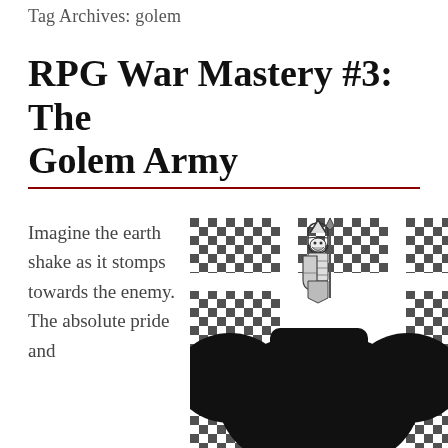Tag Archives: golem
RPG War Mastery #3: The Golem Army
Imagine the earth shake as it stomps towards the enemy. The absolute pride and
[Figure (illustration): Black and white illustration of a large golem creature with a warrior/knight rider on top, holding a spear and shield, against a checkered dot-pattern background]